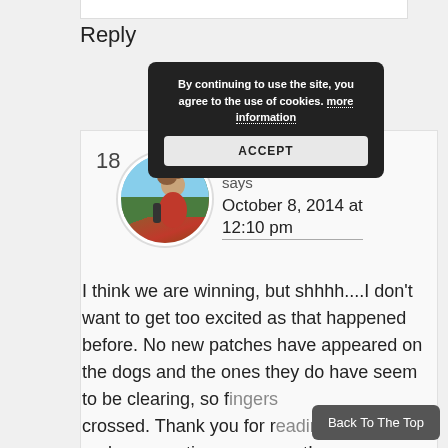Reply
By continuing to use the site, you agree to the use of cookies. more information
ACCEPT
18
[Figure (photo): Circular avatar photo of a person (Debbie Roberts) with curly hair, wearing red, standing against a blue sky and green landscape background.]
Debbie Roberts
says
October 8, 2014 at 12:10 pm
I think we are winning, but shhhh....I don't want to get too excited as that happened before. No new patches have appeared on the dogs and the ones they do have seem to be clearing, so fingers crossed. Thank you for reading and commenting on my post!
Back To The Top